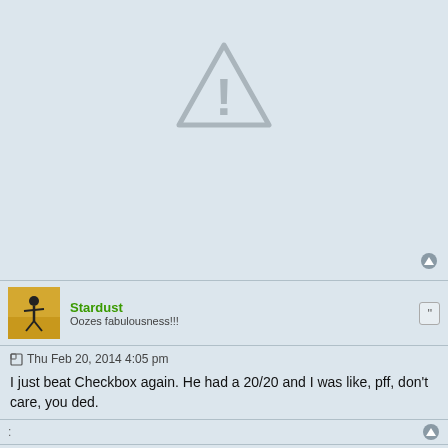[Figure (illustration): Warning triangle icon with exclamation mark, gray outline on light blue background]
Stardust
Oozes fabulousness!!!
Thu Feb 20, 2014 4:05 pm
I just beat Checkbox again. He had a 20/20 and I was like, pff, don't care, you ded.
Stardust
Oozes fabulousness!!!
Mon Feb 24, 2014 3:50 pm
I just won my first draft! Some pile of random high-toughness Uterra/Alloyin cards to support a few cards that cared about low power and full ranks. Worked really well, actually. 9 event tickets and a premium